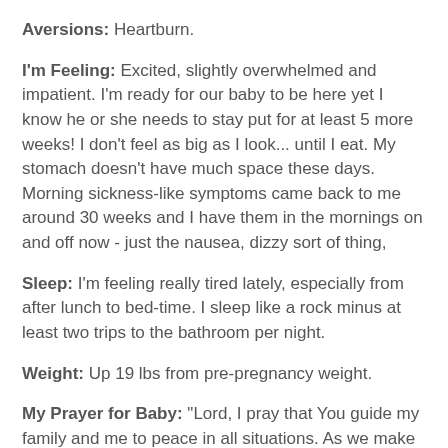Aversions: Heartburn.
I'm Feeling: Excited, slightly overwhelmed and impatient. I'm ready for our baby to be here yet I know he or she needs to stay put for at least 5 more weeks! I don't feel as big as I look... until I eat. My stomach doesn't have much space these days. Morning sickness-like symptoms came back to me around 30 weeks and I have them in the mornings on and off now - just the nausea, dizzy sort of thing,
Sleep: I'm feeling really tired lately, especially from after lunch to bed-time. I sleep like a rock minus at least two trips to the bathroom per night.
Weight: Up 19 lbs from pre-pregnancy weight.
My Prayer for Baby: "Lord, I pray that You guide my family and me to peace in all situations. As we make important decisions for our family, I pray that You give us wisdom and peace as we follow in Your will. Thank You for this pregnancy and our family. Guide us in Your will everyday and help us to